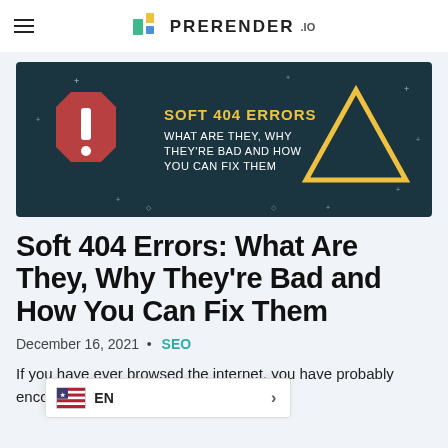PRERENDER.IO
[Figure (infographic): Dark teal banner with a red octagon warning sign with exclamation mark on the left, a yellow triangle warning sign on the right, and white/yellow text reading 'SOFT 404 ERRORS - WHAT ARE THEY, WHY THEY'RE BAD AND HOW YOU CAN FIX THEM' in the center, with decorative stars/sparkles on dark background.]
Soft 404 Errors: What Are They, Why They're Bad and How You Can Fix Them
December 16, 2021 • SEO
If you have ever browsed the internet, you have probably encountered a 404 error at